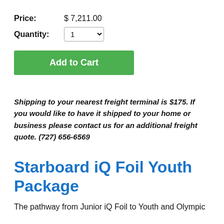Price: $ 7,211.00
Quantity: 1
Add to Cart
Shipping to your nearest freight terminal is $175. If you would like to have it shipped to your home or business please contact us for an additional freight quote. (727) 656-6569
Starboard iQ Foil Youth Package
The pathway from Junior iQ Foil to Youth and Olympic